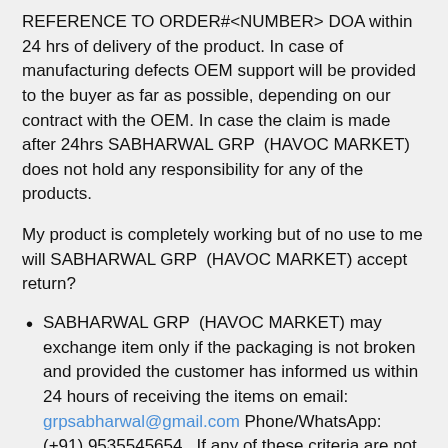REFERENCE TO ORDER#<NUMBER> DOA within 24 hrs of delivery of the product. In case of manufacturing defects OEM support will be provided to the buyer as far as possible, depending on our contract with the OEM. In case the claim is made after 24hrs SABHARWAL GRP  (HAVOC MARKET) does not hold any responsibility for any of the products.
My product is completely working but of no use to me will SABHARWAL GRP  (HAVOC MARKET) accept return?
SABHARWAL GRP  (HAVOC MARKET) may exchange item only if the packaging is not broken and provided the customer has informed us within 24 hours of receiving the items on email: grpsabharwal@gmail.com Phone/WhatsApp: (+91) 9535545654 . If any of these criteria are not matched SABHARWAL GRP  (HAVOC MARKET) is not liable to exchange such items.